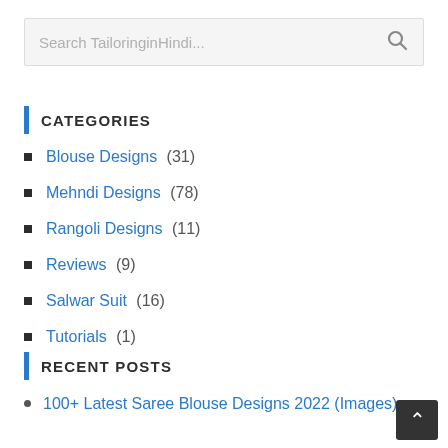[Figure (screenshot): Search box with placeholder text 'Search TailoringinHindi...' and a magnifying glass icon]
CATEGORIES
Blouse Designs (31)
Mehndi Designs (78)
Rangoli Designs (11)
Reviews (9)
Salwar Suit (16)
Tutorials (1)
RECENT POSTS
100+ Latest Saree Blouse Designs 2022 (Images)